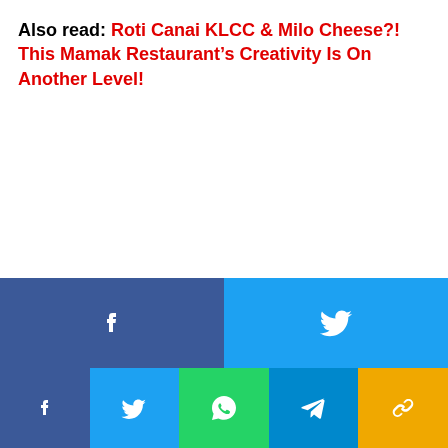Also read: Roti Canai KLCC & Milo Cheese?! This Mamak Restaurant's Creativity Is On Another Level!
[Figure (infographic): Social media share buttons: two large buttons (Facebook blue, Twitter cyan) on top row, five smaller buttons (Facebook, Twitter, WhatsApp, Telegram, Link/copy) on bottom row]